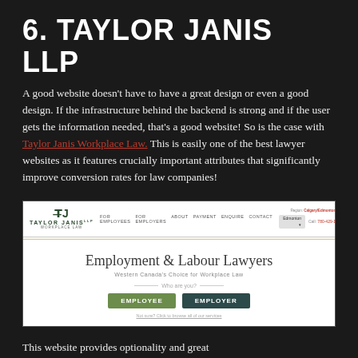6. TAYLOR JANIS LLP
A good website doesn’t have to have a great design or even a good design. If the infrastructure behind the backend is strong and if the user gets the information needed, that’s a good website! So is the case with Taylor Janis Workplace Law. This is easily one of the best lawyer websites as it features crucially important attributes that significantly improve conversion rates for law companies!
[Figure (screenshot): Screenshot of the Taylor Janis Workplace Law website showing the logo, navigation bar with links (FOR EMPLOYEES, FOR EMPLOYERS, ABOUT, PAYMENT, ENQUIRE, CONTACT), region selector showing Calgary/Edmonton/Canmore and Edmonton button with phone numbers, and the hero section with heading 'Employment & Labour Lawyers', subheading 'Western Canada’s Choice for Workplace Law', a 'Who are you?' prompt with EMPLOYEE and EMPLOYER call-to-action buttons.]
This website provides optionality and great